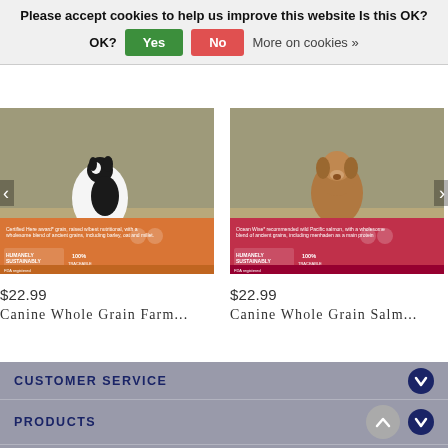Please accept cookies to help us improve this website Is this OK?
Yes
No
More on cookies »
[Figure (photo): Dog food product - Canine Whole Grain Farm... with orange packaging, black and white dog in field background, $22.99]
$22.99
Canine Whole Grain Farm...
[Figure (photo): Dog food product - Canine Whole Grain Salm... with red/pink packaging, brown dog in field background, $22.99]
$22.99
Canine Whole Grain Salm...
CUSTOMER SERVICE
PRODUCTS
MY ACCOUNT